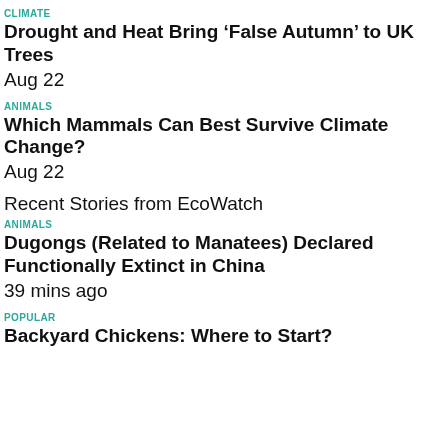CLIMATE
Drought and Heat Bring ‘False Autumn’ to UK Trees
Aug 22
ANIMALS
Which Mammals Can Best Survive Climate Change?
Aug 22
Recent Stories from EcoWatch
ANIMALS
Dugongs (Related to Manatees) Declared Functionally Extinct in China
39 mins ago
POPULAR
Backyard Chickens: Where to Start?